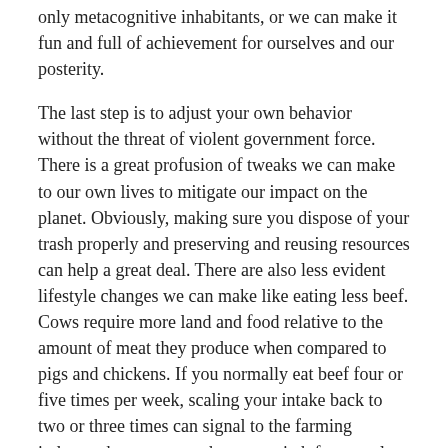only metacognitive inhabitants, or we can make it fun and full of achievement for ourselves and our posterity.
The last step is to adjust your own behavior without the threat of violent government force. There is a great profusion of tweaks we can make to our own lives to mitigate our impact on the planet. Obviously, making sure you dispose of your trash properly and preserving and reusing resources can help a great deal. There are also less evident lifestyle changes we can make like eating less beef. Cows require more land and food relative to the amount of meat they produce when compared to pigs and chickens. If you normally eat beef four or five times per week, scaling your intake back to two or three times can signal to the farming industry that you want them to switch from cattle to poultry.
If you can afford it, it's a solid idea to drive a hybrid or electric car or install solar panels on your roof. Riding a bike to work won't hurt either.
Lastly, I think the young adults of today have a tremendous responsibility. We must raise future generations in a way that